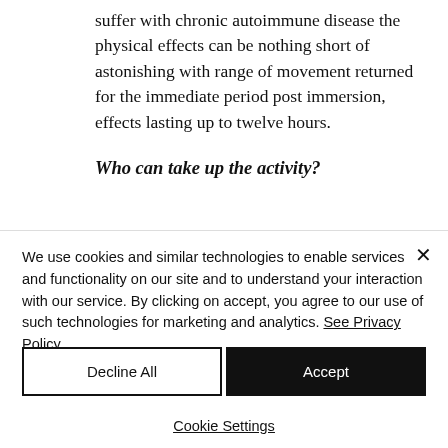suffer with chronic autoimmune disease the physical effects can be nothing short of astonishing with range of movement returned for the immediate period post immersion, effects lasting up to twelve hours.
Who can take up the activity?
We use cookies and similar technologies to enable services and functionality on our site and to understand your interaction with our service. By clicking on accept, you agree to our use of such technologies for marketing and analytics. See Privacy Policy
Decline All
Accept
Cookie Settings